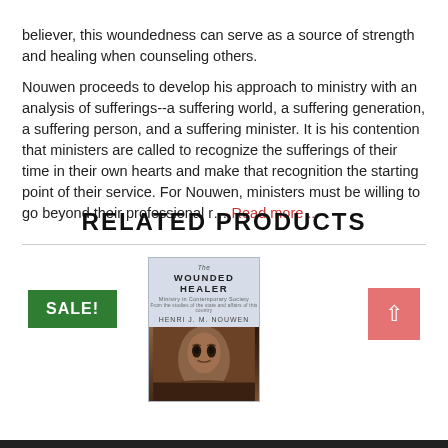believer, this woundedness can serve as a source of strength and healing when counseling others.
Nouwen proceeds to develop his approach to ministry with an analysis of sufferings--a suffering world, a suffering generation, a suffering person, and a suffering minister. It is his contention that ministers are called to recognize the sufferings of their time in their own hearts and make that recognition the starting point of their service. For Nouwen, ministers must be willing to go beyond their professional r... Read more ...
RELATED PRODUCTS
[Figure (photo): Book cover of 'The Wounded Healer' by Henri J. M. Nouwen, showing title text at top and an artistic painting of a face at the bottom, with a SALE! badge on the left and a scroll-to-top button on the right.]